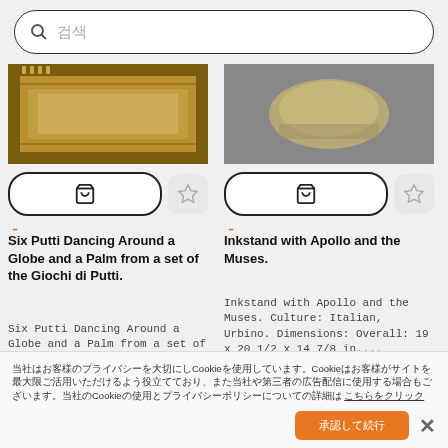검색 (search bar placeholder)
[Figure (photo): Partial view of an ornate decorative panel with golden-brown carved border featuring Greek key pattern]
[Figure (photo): Partial view of a decorative inkstand object on grey background]
Cart button and favorite star button for left item
Cart button and favorite star button for right item
Six Putti Dancing Around a Globe and a Palm from a set of the Giochi di Putti.
Inkstand with Apollo and the Muses.
Six Putti Dancing Around a Globe and a Palm from a set of the Giochi di Putti. Artist: Cartoon by Tomma...
Inkstand with Apollo and the Muses. Culture: Italian, Urbino. Dimensions: Overall: 19 x 20 1/2 x 14 7/8 in....
オブジェクトID: 2020061105975
当社はお客様のプライバシーを大切にしCookieを使用しています。Cookieはお客様がサイトを最大限ご活用いただけるよう役立てており、また当社や第三者の広告配信に使用する場合もございます。当社のCookieの使用とプライバシーポリシーについての詳細は こちらをクリック
承認して続行